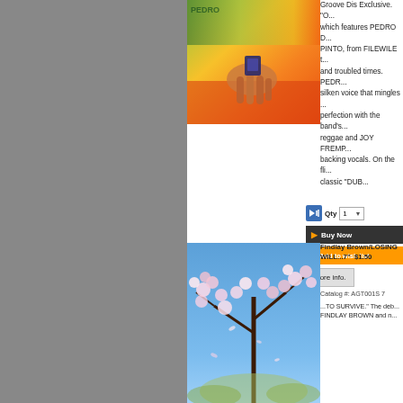[Figure (photo): Product photo – colorful orange/green/yellow image with a hand holding a small item, with PEDRO text visible]
Groove Dis Exclusive. "O... which features PEDRO D... PINTO, from FILEWILE t... and troubled times. PEDR... silken voice that mingles ... perfection with the band's... reggae and JOY FREMP... backing vocals. On the fli... classic "DUB...
Qty
[Figure (screenshot): Buy Now button – dark background with orange play arrow and white text]
[Figure (screenshot): Add to wish list button – orange background with white play arrow and white text]
[Figure (screenshot): More info. button – light gray background]
Findlay Brown/LOSING WILL...7"  $1.50
Catalog #: AGT001S 7
...TO SURVIVE." The deb... FINDLAY BROWN and n...